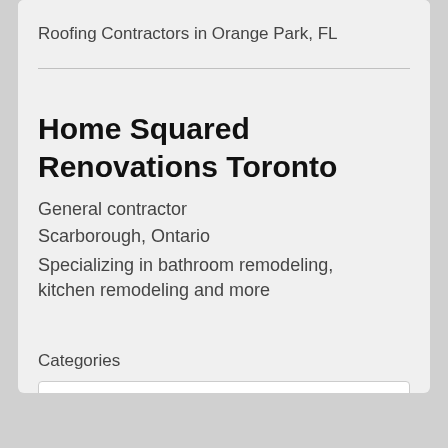Roofing Contractors in Orange Park, FL
Home Squared Renovations Toronto
General contractor
Scarborough, Ontario
Specializing in bathroom remodeling, kitchen remodeling and more
Categories
Select Category